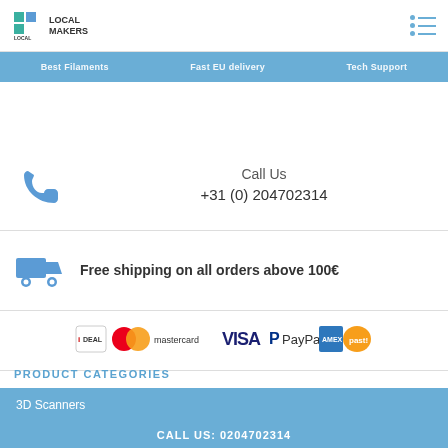[Figure (logo): Local Makers logo with stylized L icon and text LOCAL MAKERS]
[Figure (other): Hamburger menu icon with blue dots and lines]
Best Filaments   Fast EU delivery   Tech Support
Call Us
+31 (0) 204702314
Free shipping on all orders above 100€
[Figure (other): Payment method logos: iDEAL, Mastercard, VISA, PayPal, American Express, past]
PRODUCT CATEGORIES
3D Scanners
CALL US: 0204702314